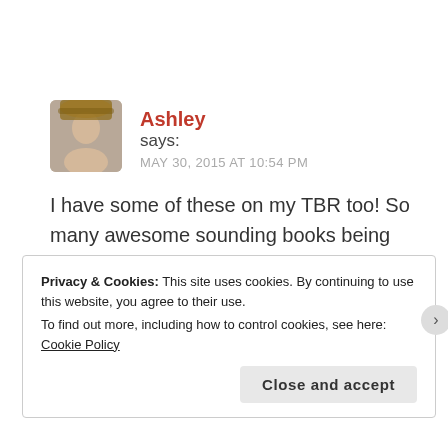Ashley says: MAY 30, 2015 AT 10:54 PM
I have some of these on my TBR too! So many awesome sounding books being released soon and throughout the entire year! 🙂
★ Liked by 1 person
Privacy & Cookies: This site uses cookies. By continuing to use this website, you agree to their use.
To find out more, including how to control cookies, see here: Cookie Policy
Close and accept